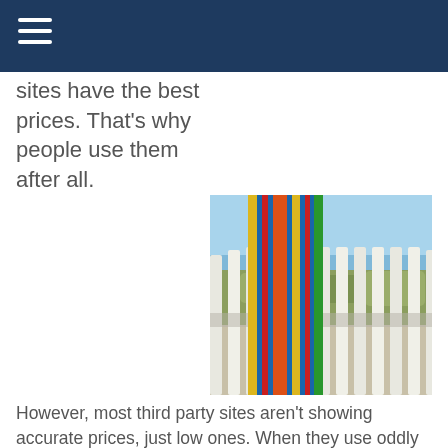sites have the best prices. That's why people use them after all.
[Figure (photo): A colorful striped beach towel hanging over a white railing with a beach and grassy dunes visible in the background.]
However, most third party sites aren't showing accurate prices, just low ones. When they use oddly specific language such as 'starting at' or 'as low as' followed by the price per night, what they're actually doing is taking the lowest price it can be in a year and showing you that, regardless of the season. Most often, the true price you pay for peak vacation times is double or even triple that.
Additionally, third party sites are unable to run specials like flash sales, tax free days, or Black Friday deals. These are specials that property management companies use to reward their most loyal fans and guests. You can see a full